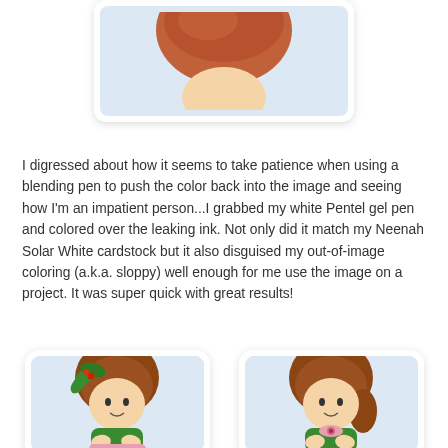[Figure (illustration): Partial view of a colored illustration showing the top of a cartoon girl character with reddish-brown hair, on a light blue background, inside a white rounded card.]
I digressed about how it seems to take patience when using a blending pen to push the color back into the image and seeing how I'm an impatient person...I grabbed my white Pentel gel pen and colored over the leaking ink. Not only did it match my Neenah Solar White cardstock but it also disguised my out-of-image coloring (a.k.a. sloppy) well enough for me use the image on a project. It was super quick with great results!
[Figure (illustration): Colored illustration of a cute cartoon girl with brown hair adorned with green holly leaves and red berries, wearing a green dress, hands clasped, on a light blue background inside a white rounded card.]
[Figure (illustration): Colored illustration of a cute cartoon girl with brown hair, wearing a green dress with a pink/peach bow, hands clasped, on a light blue background inside a white rounded card.]